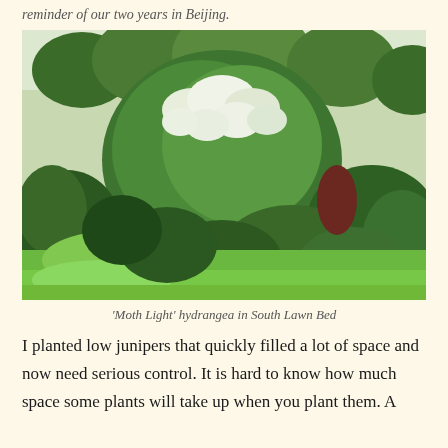reminder of our two years in Beijing.
[Figure (photo): Large flowering 'Moth Light' hydrangea shrub with white blooms surrounded by green lawn and garden plantings in South Lawn Bed]
'Moth Light' hydrangea in South Lawn Bed
I planted low junipers that quickly filled a lot of space and now need serious control. It is hard to know how much space some plants will take up when you plant them. A